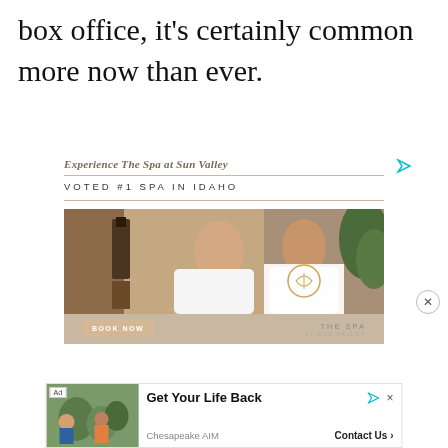box office, it's certainly common more now than ever.
[Figure (photo): Spa at Sun Valley advertisement showing two women in robes smiling, with logo overlay]
Experience The Spa at Sun Valley
VOTED #1 SPA IN IDAHO
[Figure (photo): Bottom advertisement: Get Your Life Back - Chesapeake AIM, Contact Us]